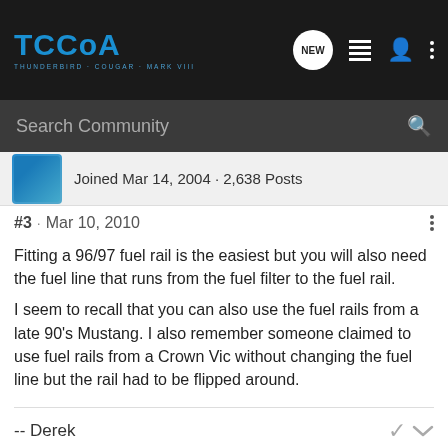[Figure (screenshot): TCCoA forum website navigation bar with logo, NEW button, list icon, user icon, and more options icon]
Search Community
Joined Mar 14, 2004 · 2,638 Posts
#3 · Mar 10, 2010
Fitting a 96/97 fuel rail is the easiest but you will also need the fuel line that runs from the fuel filter to the fuel rail.
I seem to recall that you can also use the fuel rails from a late 90's Mustang. I also remember someone claimed to use fuel rails from a Crown Vic without changing the fuel line but the rail had to be flipped around.
-- Derek
Currently: '95 T-bird LX - '02 Explorer 4.6, '02 GT intake box w/ 85mm MAF, tuned by Jerry